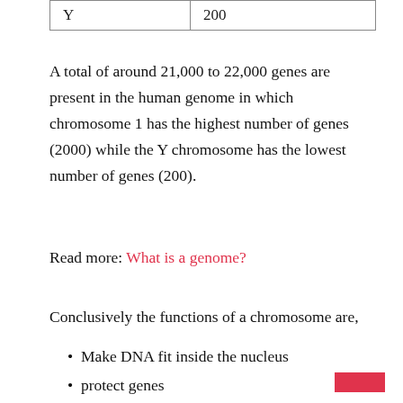| Chromosome | Number of Genes |
| --- | --- |
| Y | 200 |
A total of around 21,000 to 22,000 genes are present in the human genome in which chromosome 1 has the highest number of genes (2000) while the Y chromosome has the lowest number of genes (200).
Read more: What is a genome?
Conclusively the functions of a chromosome are,
Make DNA fit inside the nucleus
protect genes